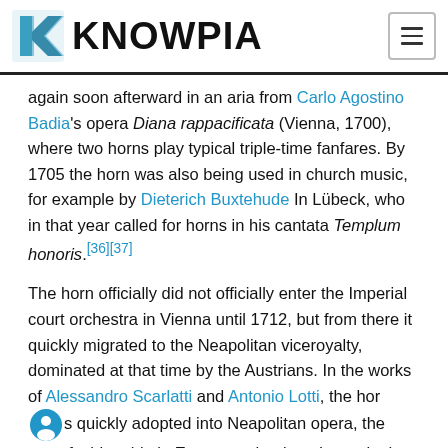KNOWPIA
again soon afterward in an aria from Carlo Agostino Badia's opera Diana rappacificata (Vienna, 1700), where two horns play typical triple-time fanfares. By 1705 the horn was also being used in church music, for example by Dieterich Buxtehude In Lübeck, who in that year called for horns in his cantata Templum honoris.[36][37]
The horn officially did not officially enter the Imperial court orchestra in Vienna until 1712, but from there it quickly migrated to the Neapolitan viceroyalty, dominated at that time by the Austrians. In the works of Alessandro Scarlatti and Antonio Lotti, the horn was quickly adopted into Neapolitan opera, the most fashionable in Europe at the time. It was in the hands